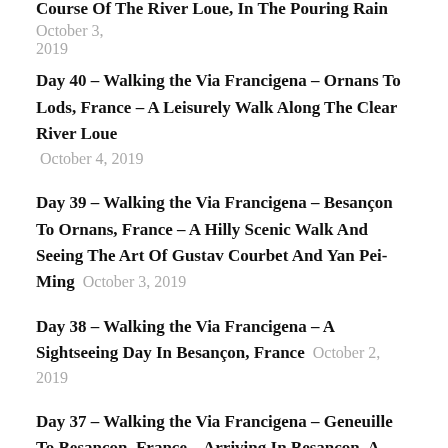Course Of The River Loue, In The Pouring Rain October 3, 2019
Day 40 – Walking the Via Francigena – Ornans To Lods, France – A Leisurely Walk Along The Clear River Loue October 4, 2019
Day 39 – Walking the Via Francigena – Besançon To Ornans, France – A Hilly Scenic Walk And Seeing The Art Of Gustav Courbet And Yan Pei-Ming October 3, 2019
Day 38 – Walking the Via Francigena – A Sightseeing Day In Besançon, France October 2, 2019
Day 37 – Walking the Via Francigena – Geneuille To Besançon, France – Arriving In Besançon, A Magnificent Historical City October 1, 2019
Day 36 – Walking the Via Francigena – Choye to Geneuille, France – Visiting A Beautiful Zen Water